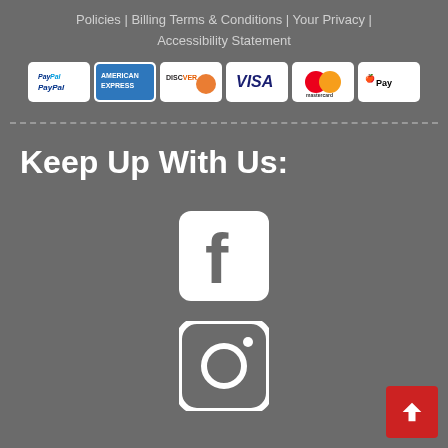Policies | Billing Terms & Conditions | Your Privacy | Accessibility Statement
[Figure (other): Payment method icons: PayPal, American Express, Discover, Visa, Mastercard, Apple Pay]
Keep Up With Us:
[Figure (other): Facebook social media icon (white 'f' on rounded square)]
[Figure (other): Instagram social media icon (camera outline on rounded square)]